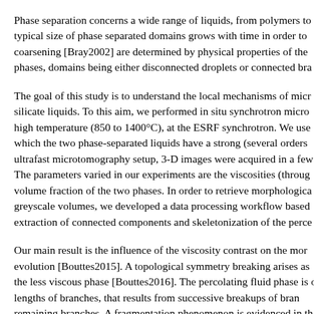Phase separation concerns a wide range of liquids, from polymers to typical size of phase separated domains grows with time in order to coarsening [Bray2002] are determined by physical properties of the phases, domains being either disconnected droplets or connected bra
The goal of this study is to understand the local mechanisms of micr silicate liquids. To this aim, we performed in situ synchrotron micro high temperature (850 to 1400°C), at the ESRF synchrotron. We use which the two phase-separated liquids have a strong (several orders ultrafast microtomography setup, 3-D images were acquired in a few The parameters varied in our experiments are the viscosities (throug volume fraction of the two phases. In order to retrieve morphologica greyscale volumes, we developed a data processing workflow based extraction of connected components and skeletonization of the perce
Our main result is the influence of the viscosity contrast on the mor evolution [Bouttes2015]. A topological symmetry breaking arises as the less viscous phase [Bouttes2016]. The percolating fluid phase is of lengths of branches, that results from successive breakups of bran remaining branches. A fragmentation phenomenon is evidenced in th is described with a wide distribution of sizes [Bouttes2014]